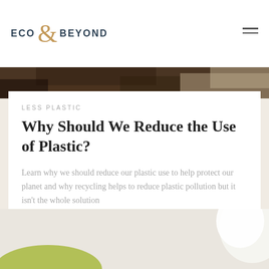ECO & BEYOND
[Figure (photo): Top portion of an article hero image showing debris/waste on a beach or natural environment]
LESS PLASTIC
Why Should We Reduce the Use of Plastic?
Learn why we should reduce our plastic use to help protect our planet and why recycling helps to reduce plastic pollution but it isn't the whole solution
[Figure (photo): Bottom portion showing what appears to be a green plant or eco-related image on a light background]